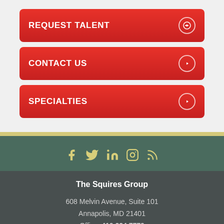REQUEST TALENT
CONTACT US
SPECIALTIES
[Figure (infographic): Social media icons: Facebook, Twitter, LinkedIn, Instagram, RSS feed — displayed in pale yellow on teal background]
The Squires Group
608 Melvin Avenue, Suite 101
Annapolis, MD 21401
Office: 410.224.7779